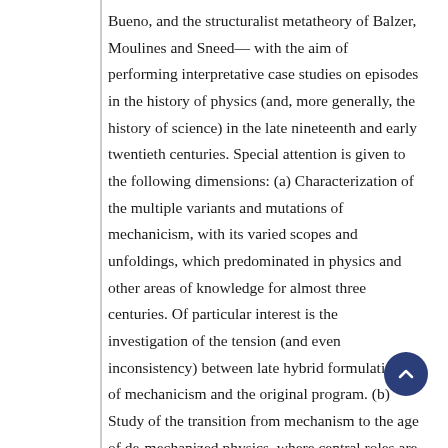Bueno, and the structuralist metatheory of Balzer, Moulines and Sneed— with the aim of performing interpretative case studies on episodes in the history of physics (and, more generally, the history of science) in the late nineteenth and early twentieth centuries. Special attention is given to the following dimensions: (a) Characterization of the multiple variants and mutations of mechanicism, with its varied scopes and unfoldings, which predominated in physics and other areas of knowledge for almost three centuries. Of particular interest is the investigation of the tension (and even inconsistency) between late hybrid formulations of mechanicism and the original program. (b) Study of the transition from mechanism to the age of de-mechanized physics, where central roles are played by classical field theory, relativity (restricted and general) theories, statistical mechanics and, in general, a renewed impetus in the program